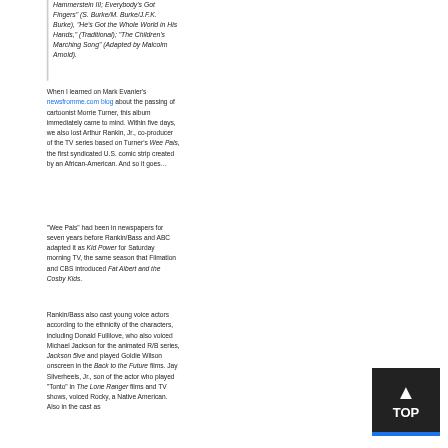Hammerstein III; Everybody's Got Fingers" (S. Burke/M. Burke/J.F.K. Burke), "He's Got the Whole World in His Hands," (Traditional); "The Children's Marching Song" (Adapted by Malcolm Arnold).
When I learned on Mark Evanier's newsfromme.com blog about the passing of cartoonist Morrie Turner, this album immediately came to mind. Within five days, we also lost Arthur Rankin, Jr., co-producer of the TV series based on Turner's Wee Pals, the first syndicated U.S. comic strip created by an African-American. And so it goes…
"Wee Pals" had been in newspapers for seven years before Rankin/Bass and ABC adapted it as Kid Power for Saturday morning TV, the same season that Filmation and CBS introduced Fat Albert and the Cosby Kids.
Rankin/Bass also cast young voice actors according to the ethnicity of the characters, including Donald Fullilove, who also voiced Michael Jackson for the animated R/B series, Jackson 5ive and played Goldie Wilson onscreen in the Back to the Future films. Jay Silverheels, Jr., son of the actor who played "Tonto" in The Lone Ranger films and TV shows, voiced Rocky, a Native American. Also in the cast as